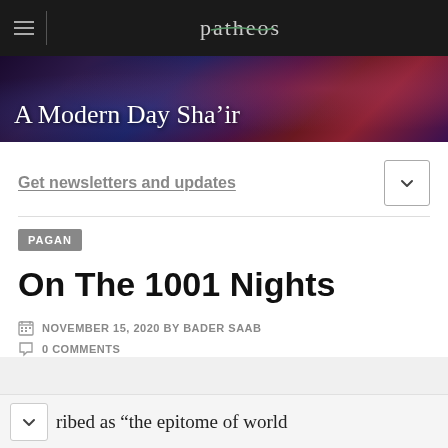patheos
A Modern Day Sha’ir
Get newsletters and updates
PAGAN
On The 1001 Nights
NOVEMBER 15, 2020 BY BADER SAAB
0 COMMENTS
ribed as “the epitome of world